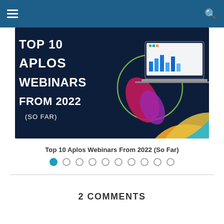Navigation bar with hamburger menu and search icon
[Figure (illustration): Banner image with dark navy background showing large white bold text: TOP 10 APLOS WEBINARS FROM 2022 (SO FAR), with colorful abstract shapes (magenta blob, green circle outline, orange/yellow/blue arc) and a laptop screenshot of a dashboard on the right side.]
Top 10 Aplos Webinars From 2022 (So Far)
Slide navigation dots: 10 dots, first dot active (filled blue), rest empty circles
2 COMMENTS